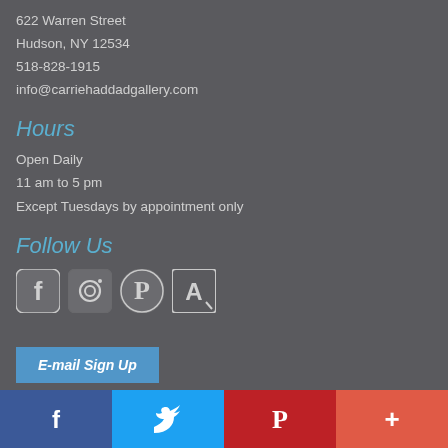622 Warren Street
Hudson, NY 12534
518-828-1915
info@carriehaddadgallery.com
Hours
Open Daily
11 am to 5 pm
Except Tuesdays by appointment only
Follow Us
[Figure (illustration): Social media icons: Facebook, Instagram, Pinterest, and Artsy (square A icon)]
E-mail Sign Up
[Figure (infographic): Share bar with four colored sections: Facebook (dark blue), Twitter (light blue), Pinterest (red), More/Plus (coral/orange-red)]